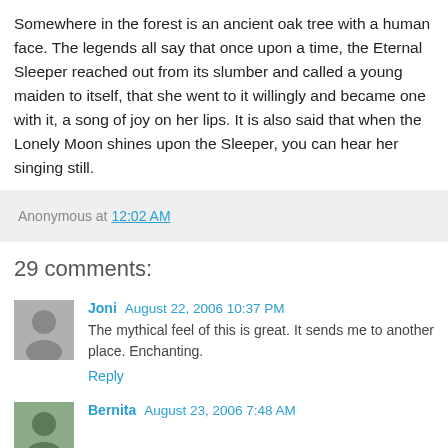Somewhere in the forest is an ancient oak tree with a human face. The legends all say that once upon a time, the Eternal Sleeper reached out from its slumber and called a young maiden to itself, that she went to it willingly and became one with it, a song of joy on her lips. It is also said that when the Lonely Moon shines upon the Sleeper, you can hear her singing still.
Anonymous at 12:02 AM
29 comments:
Joni August 22, 2006 10:37 PM
The mythical feel of this is great. It sends me to another place. Enchanting.
Reply
Bernita August 23, 2006 7:48 AM